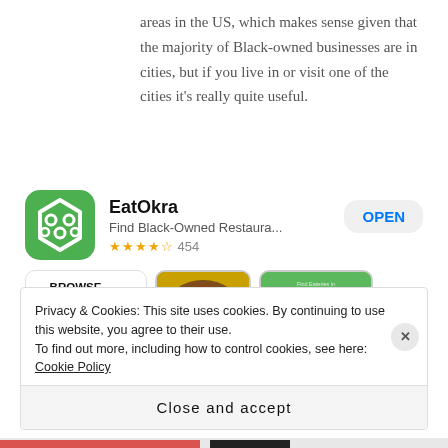areas in the US, which makes sense given that the majority of Black-owned businesses are in cities, but if you live in or visit one of the cities it's really quite useful.
[Figure (screenshot): App Store listing for EatOkra - Find Black-Owned Restaurants app with green icon, OPEN button, 4-star rating with 454 reviews, and three screenshot previews showing browse interface]
Privacy & Cookies: This site uses cookies. By continuing to use this website, you agree to their use.
To find out more, including how to control cookies, see here: Cookie Policy
Close and accept